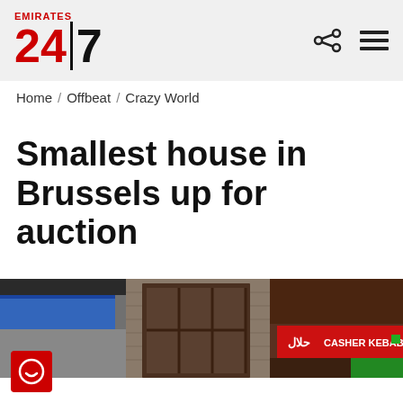EMIRATES 24|7
Home / Offbeat / Crazy World
Smallest house in Brussels up for auction
[Figure (photo): Street-level photo showing brick building facades: a storefront with a blue awning on the left, a narrow window/door structure in the center, and a 'CASHER KEBAB' restaurant sign in red with Arabic text on the right.]